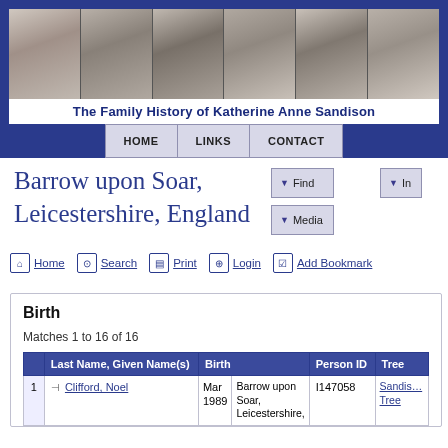[Figure (photo): Banner with six black-and-white portrait photographs of people from different eras]
The Family History of Katherine Anne Sandison
HOME | LINKS | CONTACT
Barrow upon Soar, Leicestershire, England
Find | Media | In
Home
Search
Print
Login
Add Bookmark
Birth
Matches 1 to 16 of 16
|  | Last Name, Given Name(s) | Birth |  | Person ID | Tree |
| --- | --- | --- | --- | --- | --- |
| 1 | Clifford, Noel | Mar 1989 | Barrow upon Soar, Leicestershire, | I147058 | Sandis… Tree |